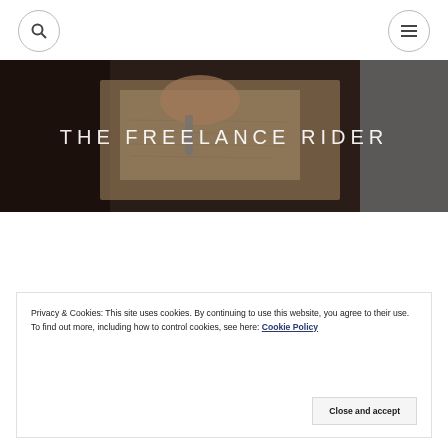THE FREELANCE RIDER
[Figure (photo): Hero banner with dark background showing hands writing in a notebook, overlaid with site title 'THE FREELANCE RIDER' in white uppercase letters]
Privacy & Cookies: This site uses cookies. By continuing to use this website, you agree to their use.
To find out more, including how to control cookies, see here: Cookie Policy
Close and accept